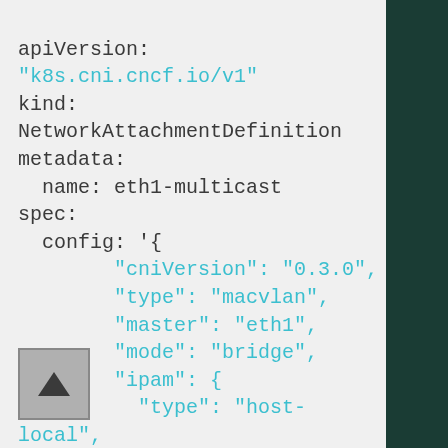apiVersion:
"k8s.cni.cncf.io/v1"
kind:
NetworkAttachmentDefinition
metadata:
  name: eth1-multicast
spec:
  config: '{
        "cniVersion": "0.3.0",
        "type": "macvlan",
        "master": "eth1",
        "mode": "bridge",
        "ipam": {
          "type": "host-local",
          "subnet": "10.0.0.0/24",
          "rangeStart": "10.0.0.13",